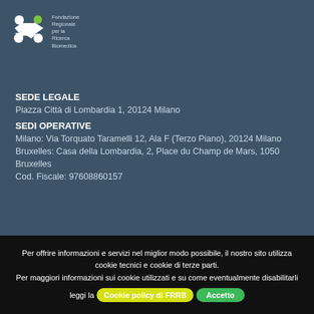[Figure (logo): Fondazione Regionale per la Ricerca Biomedica logo with white/green X-shaped figure and Italian text]
SEDE LEGALE
Piazza Città di Lombardia 1, 20124 Milano
SEDI OPERATIVE
Milano: Via Torquato Taramelli 12, Ala F (Terzo Piano), 20124 Milano
Bruxelles: Casa della Lombardia, 2, Place du Champ de Mars, 1050 Bruxelles
Cod. Fiscale: 97608860157
Sitemap
Per offrire informazioni e servizi nel miglior modo possibile, il nostro sito utilizza cookie tecnici e cookie di terze parti.
Per maggiori informazioni sui cookie utilizzati e su come eventualmente disabilitarli leggi la Cookie policy di FRRB
Accetto